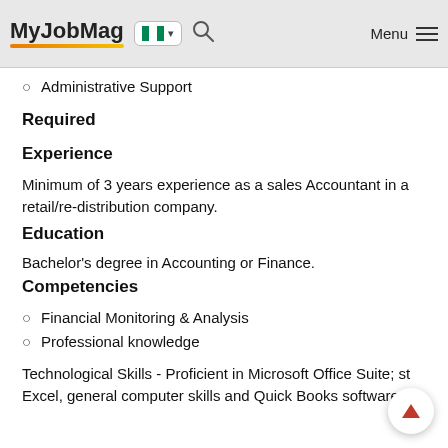MyJobMag [Nigeria flag] Menu
Administrative Support
Required
Experience
Minimum of 3 years experience as a sales Accountant in a retail/re-distribution company.
Education
Bachelor's degree in Accounting or Finance.
Competencies
Financial Monitoring & Analysis
Professional knowledge
Technological Skills - Proficient in Microsoft Office Suite; st Excel, general computer skills and Quick Books software.